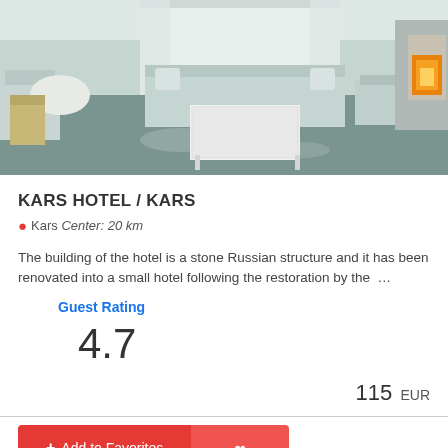[Figure (photo): Hotel room interior showing sofas, white coffee table, dining area, and fireplace with warm glow, carpeted floor in grey-green tones]
KARS HOTEL / KARS
Kars Center: 20 km
The building of the hotel is a stone Russian structure and it has been renovated into a small hotel following the restoration by the …
Guest Rating
4.7
115 EUR
+ Add to Favorites
Favorites